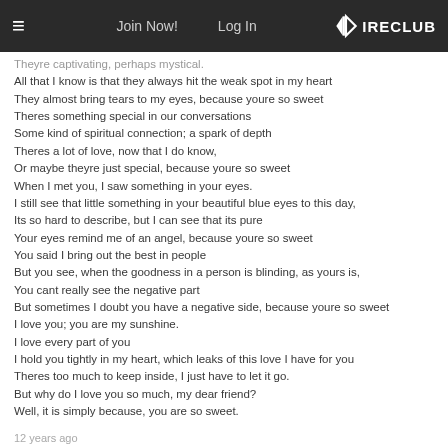≡  Join Now!  Log In  IRECLUB
Theyre captivating, perhaps mystical.
All that I know is that they always hit the weak spot in my heart
They almost bring tears to my eyes, because youre so sweet
Theres something special in our conversations
Some kind of spiritual connection; a spark of depth
Theres a lot of love, now that I do know,
Or maybe theyre just special, because youre so sweet
When I met you, I saw something in your eyes.
I still see that little something in your beautiful blue eyes to this day,
Its so hard to describe, but I can see that its pure
Your eyes remind me of an angel, because youre so sweet
You said I bring out the best in people
But you see, when the goodness in a person is blinding, as yours is,
You cant really see the negative part
But sometimes I doubt you have a negative side, because youre so sweet
I love you; you are my sunshine.
I love every part of you
I hold you tightly in my heart, which leaks of this love I have for you
Theres too much to keep inside, I just have to let it go.
But why do I love you so much, my dear friend?
Well, it is simply because, you are so sweet.
12 years ago